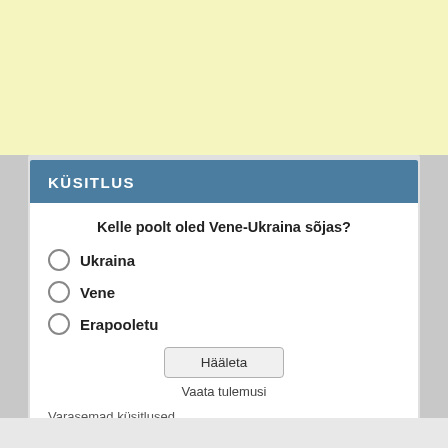KÜSITLUS
Kelle poolt oled Vene-Ukraina sõjas?
Ukraina
Vene
Erapooletu
Hääleta
Vaata tulemusi
Varasemad küsitlused